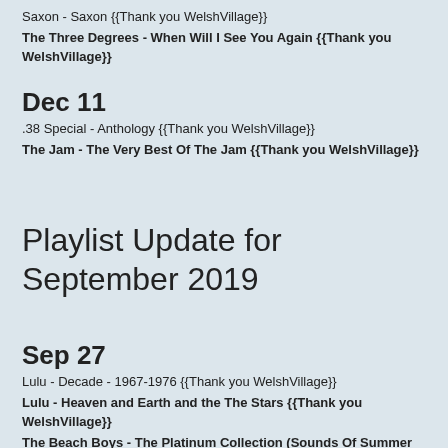Saxon - Saxon {{Thank you WelshVillage}}
The Three Degrees - When Will I See You Again {{Thank you WelshVillage}}
Dec 11
.38 Special - Anthology {{Thank you WelshVillage}}
The Jam - The Very Best Of The Jam {{Thank you WelshVillage}}
Playlist Update for September 2019
Sep 27
Lulu - Decade - 1967-1976 {{Thank you WelshVillage}}
Lulu - Heaven and Earth and the The Stars {{Thank you WelshVillage}}
The Beach Boys - The Platinum Collection (Sounds Of Summer Edition) {{Thank you WelshVillage}}